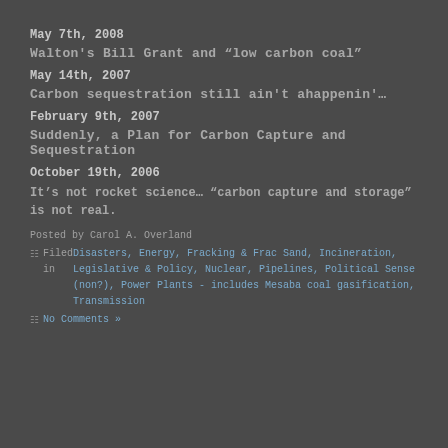May 7th, 2008
Walton's Bill Grant and “low carbon coal”
May 14th, 2007
Carbon sequestration still ain't ahappenin'…
February 9th, 2007
Suddenly, a Plan for Carbon Capture and Sequestration
October 19th, 2006
It’s not rocket science… “carbon capture and storage” is not real.
Posted by Carol A. Overland
Filed in Disasters, Energy, Fracking & Frac Sand, Incineration, Legislative & Policy, Nuclear, Pipelines, Political Sense (non?), Power Plants - includes Mesaba coal gasification, Transmission
No Comments »